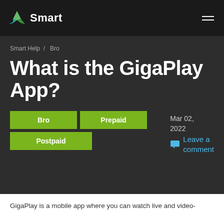Smart
Smart Help / Bro
What is the GigaPlay App?
Bro  Prepaid  Postpaid  Mar 02, 2022  Leave a comment
GigaPlay is a mobile app where you can watch live and video-